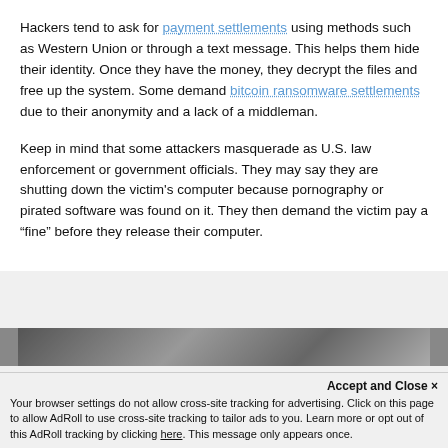Hackers tend to ask for payment settlements using methods such as Western Union or through a text message. This helps them hide their identity. Once they have the money, they decrypt the files and free up the system. Some demand bitcoin ransomware settlements due to their anonymity and a lack of a middleman.
Keep in mind that some attackers masquerade as U.S. law enforcement or government officials. They may say they are shutting down the victim's computer because pornography or pirated software was found on it. They then demand the victim pay a “fine” before they release their computer.
[Figure (photo): Partial image strip at bottom of page content area]
Accept and Close ×
Your browser settings do not allow cross-site tracking for advertising. Click on this page to allow AdRoll to use cross-site tracking to tailor ads to you. Learn more or opt out of this AdRoll tracking by clicking here. This message only appears once.